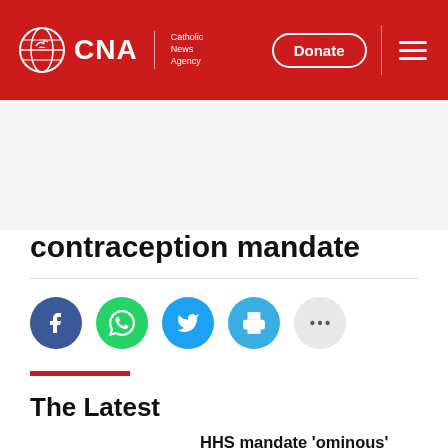CNA | Catholic News Agency — Donate
contraception mandate
[Figure (infographic): Social share icons row: Facebook, WhatsApp, Twitter, Print, More (...)]
The Latest
HHS mandate 'ominous' threat to